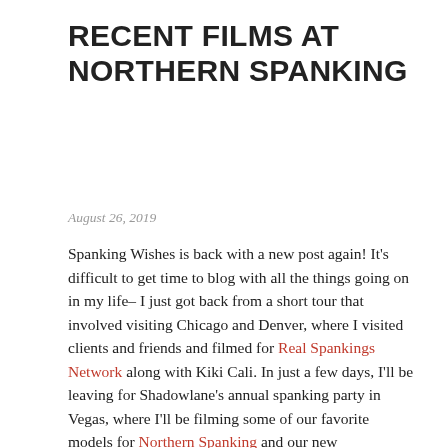RECENT FILMS AT NORTHERN SPANKING
August 26, 2019
Spanking Wishes is back with a new post again! It's difficult to get time to blog with all the things going on in my life– I just got back from a short tour that involved visiting Chicago and Denver, where I visited clients and friends and filmed for Real Spankings Network along with Kiki Cali. In just a few days, I'll be leaving for Shadowlane's annual spanking party in Vegas, where I'll be filming some of our favorite models for Northern Spanking and our new membership site, Spanked and Diapered. I'll also be filming for Shadowlane Spanking for the first time in over five years, as well as doing scenes for the Sarah Gregory Network and Triple A Spanking.
As a side note, I have availability for two more private